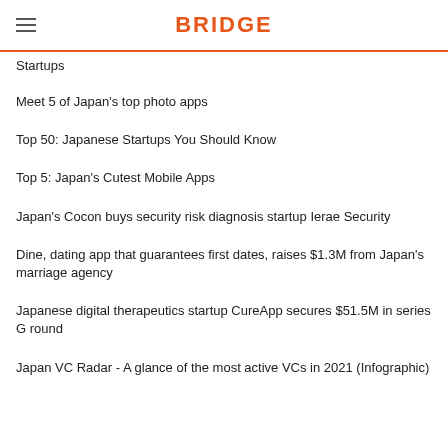BRIDGE
Startups
Meet 5 of Japan's top photo apps
Top 50: Japanese Startups You Should Know
Top 5: Japan's Cutest Mobile Apps
Japan's Cocon buys security risk diagnosis startup Ierae Security
Dine, dating app that guarantees first dates, raises $1.3M from Japan's marriage agency
Japanese digital therapeutics startup CureApp secures $51.5M in series G round
Japan VC Radar - A glance of the most active VCs in 2021 (Infographic)